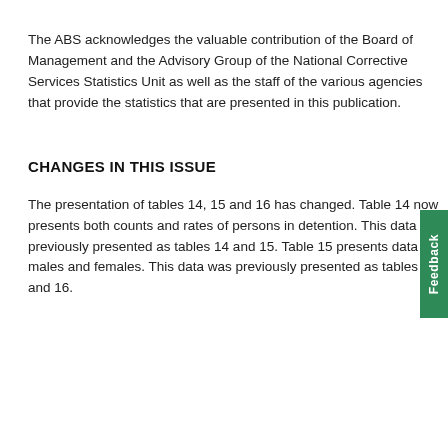The ABS acknowledges the valuable contribution of the Board of Management and the Advisory Group of the National Corrective Services Statistics Unit as well as the staff of the various agencies that provide the statistics that are presented in this publication.
CHANGES IN THIS ISSUE
The presentation of tables 14, 15 and 16 has changed. Table 14 now presents both counts and rates of persons in detention. This data was previously presented as tables 14 and 15. Table 15 presents data for males and females. This data was previously presented as tables 15 and 16.